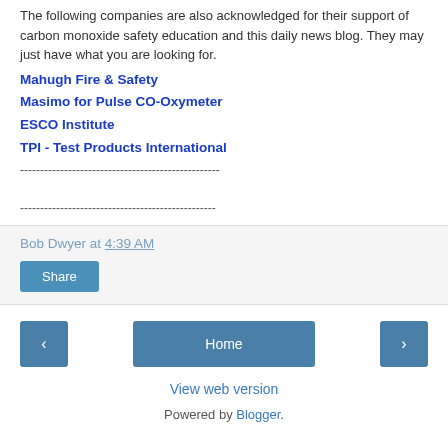The following companies are also acknowledged for their support of carbon monoxide safety education and this daily news blog. They may just have what you are looking for.
Mahugh Fire & Safety
Masimo for Pulse CO-Oxymeter
ESCO Institute
TPI - Test Products International
----------------------------------------------------
----------------------------------------------------
Bob Dwyer at 4:39 AM
Share
Home | View web version | Powered by Blogger.